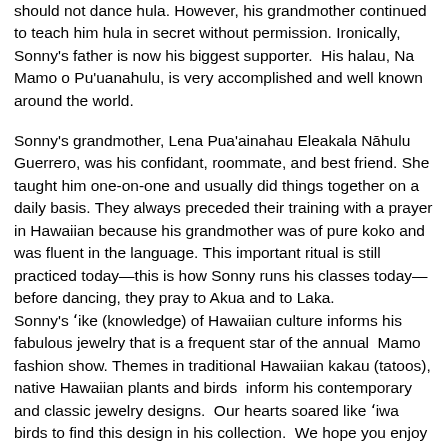should not dance hula. However, his grandmother continued to teach him hula in secret without permission. Ironically, Sonny's father is now his biggest supporter.  His halau, Na Mamo o Pu'uanahulu, is very accomplished and well known around the world.
Sonny's grandmother, Lena Pua'ainahau Eleakala Nāhulu Guerrero, was his confidant, roommate, and best friend. She taught him one-on-one and usually did things together on a daily basis. They always preceded their training with a prayer in Hawaiian because his grandmother was of pure koko and was fluent in the language. This important ritual is still practiced today—this is how Sonny runs his classes today—before dancing, they pray to Akua and to Laka.
Sonny's ʻike (knowledge) of Hawaiian culture informs his fabulous jewelry that is a frequent star of the annual  Mamo fashion show. Themes in traditional Hawaiian kakau (tatoos), native Hawaiian plants and birds  inform his contemporary and classic jewelry designs.  Our hearts soared like ʻiwa birds to find this design in his collection.  We hope you enjoy them!